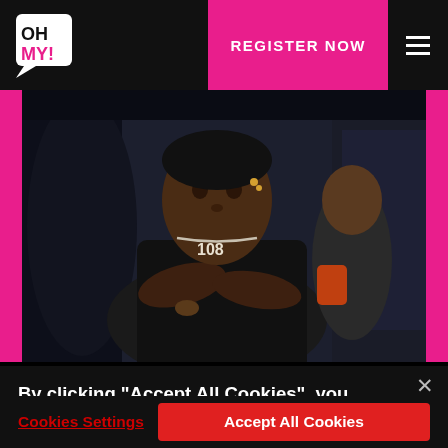OH MY! — REGISTER NOW
[Figure (photo): A young person wearing a black sleeveless top with '108' chain necklace, sitting in a car, arms crossed, looking directly at camera. Second person visible in background.]
By clicking “Accept All Cookies”, you agree to the storing of cookies on your device to enhance site navigation, analyze site usage, and assist in our marketing efforts.
Cookies Settings
Accept All Cookies